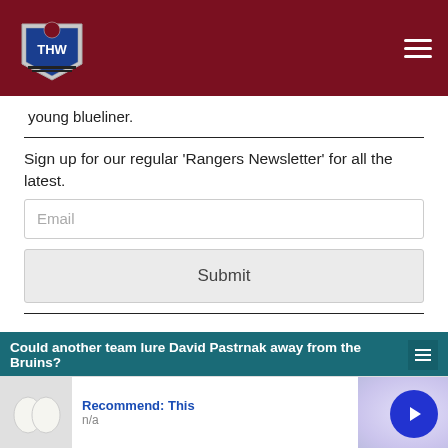THW
young blueliner.
Sign up for our regular 'Rangers Newsletter' for all the latest.
Email
Submit
Could another team lure David Pastrnak away from the Bruins?
Recommend: This
n/a